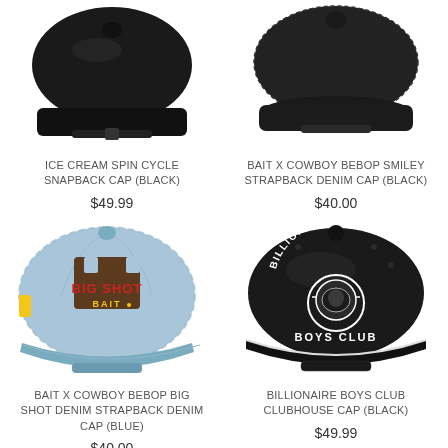[Figure (photo): Black snapback cap viewed from above, showing dark brim]
ICE CREAM SPIN CYCLE SNAPBACK CAP (BLACK)
$49.99
[Figure (photo): Black strapback denim cap viewed from above]
BAIT X COWBOY BEBOP SMILEY STRAPBACK DENIM CAP (BLACK)
$40.00
[Figure (photo): Light blue denim dad cap with BIG SHOT BAIT embroidery in red and yellow]
BAIT X COWBOY BEBOP BIG SHOT DENIM STRAPBACK DENIM CAP (BLUE)
$40.00
[Figure (photo): Black Billionaire Boys Club snapback cap with white rope detail and astronaut logo]
BILLIONAIRE BOYS CLUB CLUBHOUSE CAP (BLACK)
$49.99